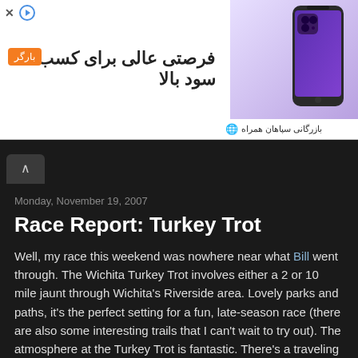[Figure (other): Advertisement banner with Persian text 'فرصتی عالی برای کسب سود بالا', orange badge, purple phone image on gradient background, and footer 'بازرگانی سپاهان همراه']
Monday, November 19, 2007
Race Report: Turkey Trot
Well, my race this weekend was nowhere near what Bill went through. The Wichita Turkey Trot involves either a 2 or 10 mile jaunt through Wichita's Riverside area. Lovely parks and paths, it's the perfect setting for a fun, late-season race (there are also some interesting trails that I can't wait to try out). The atmosphere at the Turkey Trot is fantastic. There's a traveling trophy that goes to whichever local school has the most student participants from year to year, so there are some really young runners, as well as mothers pushing strollers, groups of grade school children with matching shirts, and a few runners who have done all 32 Turkey Trots